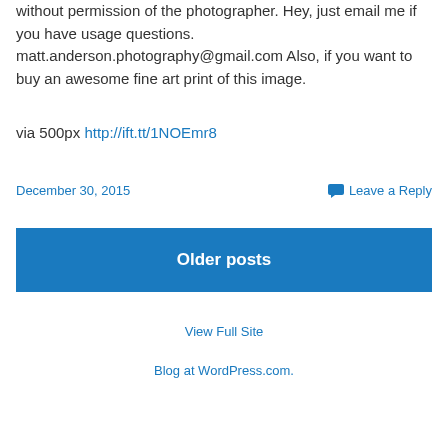without permission of the photographer. Hey, just email me if you have usage questions. matt.anderson.photography@gmail.com Also, if you want to buy an awesome fine art print of this image.
via 500px http://ift.tt/1NOEmr8
December 30, 2015    Leave a Reply
Older posts
View Full Site
Blog at WordPress.com.